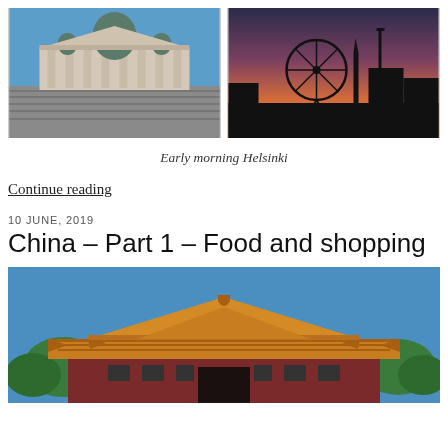[Figure (photo): Helsinki Cathedral with steps, blue sky]
[Figure (photo): Ferris wheel silhouette at sunset/dusk with pink-orange sky]
Early morning Helsinki
Continue reading
10 JUNE, 2019
China – Part 1 – Food and shopping
[Figure (photo): Chinese imperial palace building (Forbidden City) with golden roof tiles, blue sky, green trees]